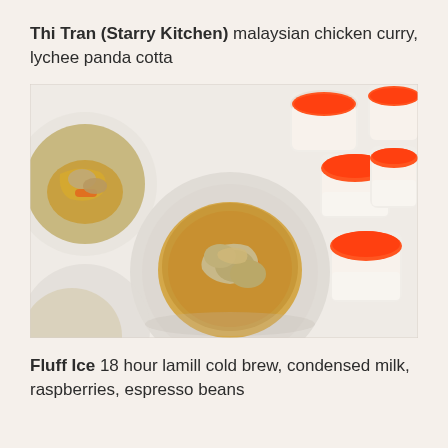Thi Tran (Starry Kitchen) malaysian chicken curry, lychee panda cotta
[Figure (photo): Food photograph showing plates of Malaysian chicken curry on a white tablecloth alongside multiple small dessert cups containing a bright orange-red lychee panda cotta.]
Fluff Ice 18 hour lamill cold brew, condensed milk, raspberries, espresso beans